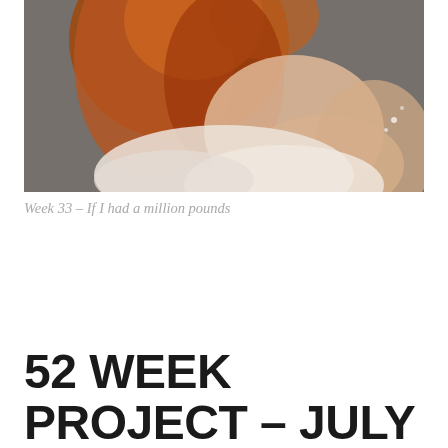[Figure (photo): Close-up photograph of a woman with long auburn/red hair, wearing a light beige or cream sleeveless top, photographed outdoors with a stone wall background. Image is cropped to show head, back, and shoulder from behind/side angle.]
Week 33 – If I had a million pounds
52 WEEK PROJECT – JULY